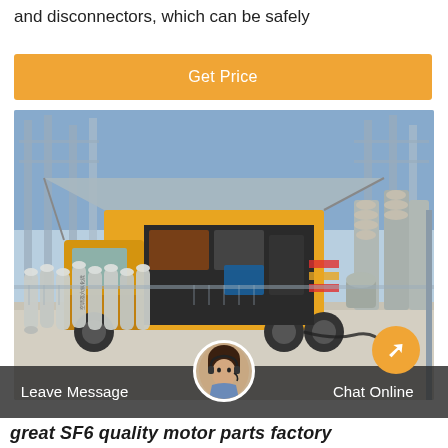and disconnectors, which can be safely
Get Price
[Figure (photo): Yellow service truck with SF6 gas cylinders arranged in front at an electrical substation. Large high-voltage equipment and insulators visible in background. Chinese text visible on gas cylinders.]
Leave Message
Chat Online
great SF6 quality motor parts factory